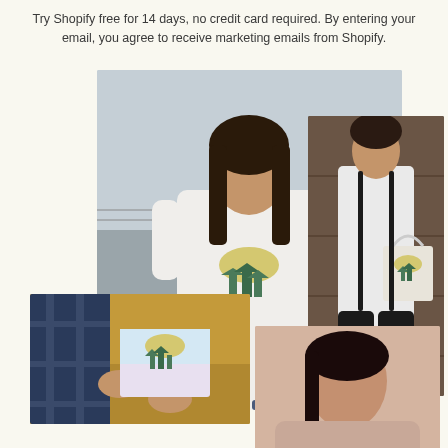Try Shopify free for 14 days, no credit card required. By entering your email, you agree to receive marketing emails from Shopify.
[Figure (photo): Collage of four lifestyle product photos: a woman wearing a white t-shirt with a nature/forest graphic, a man holding a tote bag with a similar nature graphic, a person holding a greeting card with the same graphic, and a woman holding a mug with the same graphic. All photos are arranged in an overlapping collage layout.]